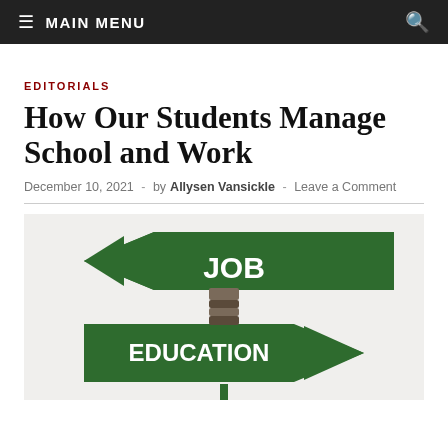MAIN MENU
EDITORIALS
How Our Students Manage School and Work
December 10, 2021  -  by Allysen Vansickle  -  Leave a Comment
[Figure (photo): Two green directional arrow signs on a pole pointing in opposite directions. The top arrow points left and reads 'JOB', the bottom arrow points right and reads 'EDUCATION'.]